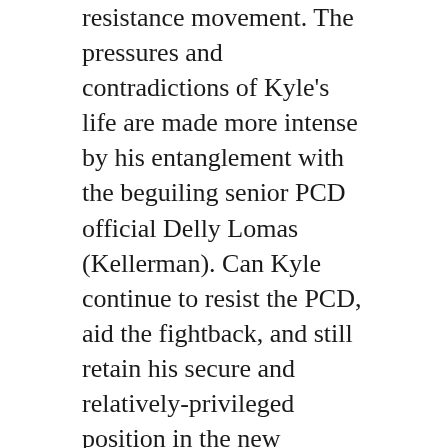resistance movement. The pressures and contradictions of Kyle's life are made more intense by his entanglement with the beguiling senior PCD official Delly Lomas (Kellerman). Can Kyle continue to resist the PCD, aid the fightback, and still retain his secure and relatively-privileged position in the new Britain? Series one sets off to find out...
My review of the DVD release of series one and series two of 1990 both appear in the online edition of Starburst magazine.
It is excellent news that, by the time series one was released, Simply Media had already committed to releasing the second (and final) series of 1990 on DVD on 1 May 2017.